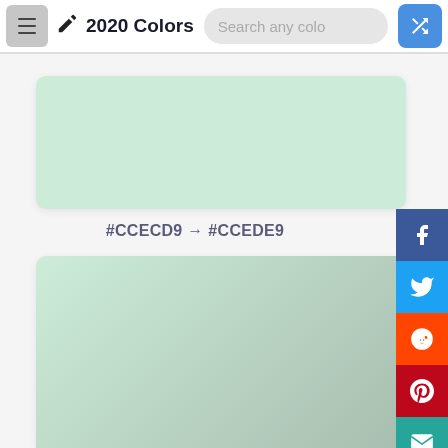2020 Colors
[Figure (other): Color swatch showing #CCECD9 mint green gradient color block]
#CCECD9 → #CCEDE9
[Figure (other): Second color swatch showing gradient from #CCECD9 to #CCEDE9 with muted green tones]